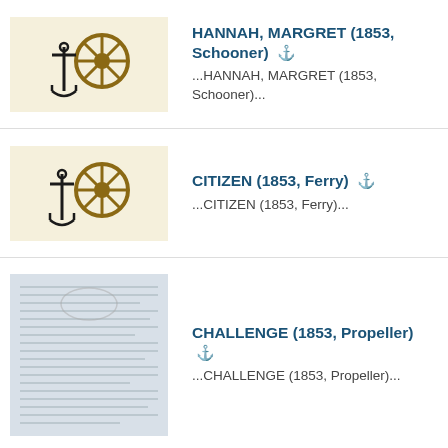HANNAH, MARGRET (1853, Schooner) ⚓
...HANNAH, MARGRET (1853, Schooner)...
CITIZEN (1853, Ferry) ⚓
...CITIZEN (1853, Ferry)...
CHALLENGE (1853, Propeller) ⚓
...CHALLENGE (1853, Propeller)...
MITCHELL, A. (1853, Brigantine) ⚓
...MITCHELL, A. (1853, Brigantine)...